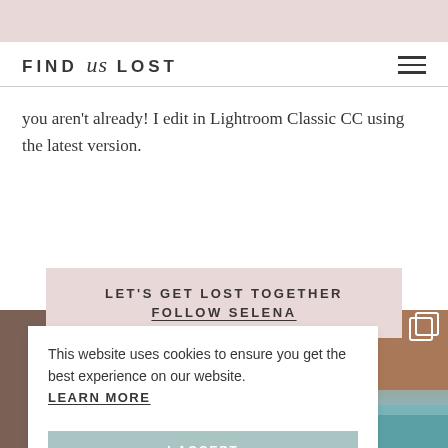FIND us LOST
you aren't already! I edit in Lightroom Classic CC using the latest version.
LET'S GET LOST TOGETHER FOLLOW SELENA
[Figure (photo): Coastal landscape photo showing rocky cliffs and turquoise water]
This website uses cookies to ensure you get the best experience on our website. LEARN MORE
I ACCEPT